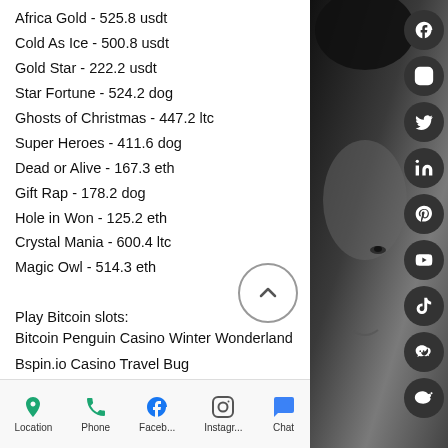Africa Gold - 525.8 usdt
Cold As Ice - 500.8 usdt
Gold Star - 222.2 usdt
Star Fortune - 524.2 dog
Ghosts of Christmas - 447.2 ltc
Super Heroes - 411.6 dog
Dead or Alive - 167.3 eth
Gift Rap - 178.2 dog
Hole in Won - 125.2 eth
Crystal Mania - 600.4 ltc
Magic Owl - 514.3 eth
Play Bitcoin slots:
Bitcoin Penguin Casino Winter Wonderland
Bspin.io Casino Travel Bug
Betchan Casino Tres Amigos
Bspin.io Casino Puppy Payday
22Bet Casino Red Dragon vs Blue Dragon
Location   Phone   Faceb...   Instagr...   Chat